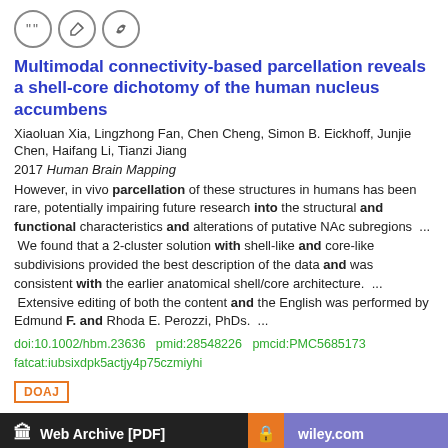[Figure (other): Three icon buttons: quote, edit, and link icons in circles]
Multimodal connectivity-based parcellation reveals a shell-core dichotomy of the human nucleus accumbens
Xiaoluan Xia, Lingzhong Fan, Chen Cheng, Simon B. Eickhoff, Junjie Chen, Haifang Li, Tianzi Jiang
2017 Human Brain Mapping
However, in vivo parcellation of these structures in humans has been rare, potentially impairing future research into the structural and functional characteristics and alterations of putative NAc subregions  ...  We found that a 2-cluster solution with shell-like and core-like subdivisions provided the best description of the data and was consistent with the earlier anatomical shell/core architecture.  ...  Extensive editing of both the content and the English was performed by Edmund F. and Rhoda E. Perozzi, PhDs.  ...
doi:10.1002/hbm.23636  pmid:28548226  pmcid:PMC5685173 fatcat:iubsixdpk5actjy4p75czmiyhi
DOAJ
Web Archive [PDF]
wiley.com